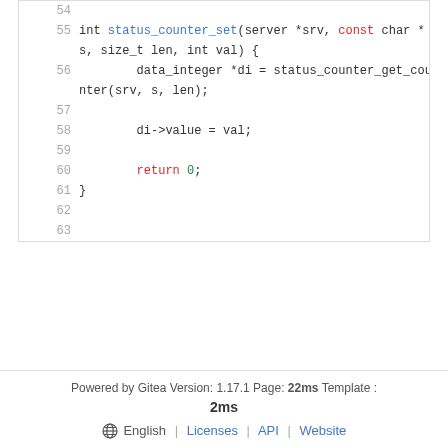[Figure (screenshot): Code viewer showing C code lines 54-63 with syntax highlighting. Lines 55-56 show function definition 'int status_counter_set(server *srv, const char *s, size_t len, int val)' with 'const' in red and 'status_counter_set' in blue. Line 56 shows 'data_integer *di = status_counter_get_counter(srv, s, len);'. Line 58 shows 'di->value = val;'. Line 60 shows 'return 0;' with 'return' in red and '0' in green. Line 61 shows closing brace.]
Powered by Gitea Version: 1.17.1 Page: 22ms Template : 2ms English | Licenses | API | Website